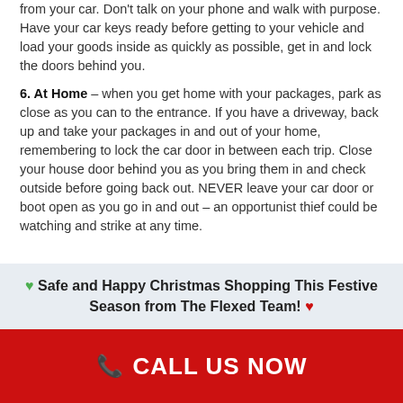from your car. Don't talk on your phone and walk with purpose. Have your car keys ready before getting to your vehicle and load your goods inside as quickly as possible, get in and lock the doors behind you.
6. At Home – when you get home with your packages, park as close as you can to the entrance. If you have a driveway, back up and take your packages in and out of your home, remembering to lock the car door in between each trip. Close your house door behind you as you bring them in and check outside before going back out. NEVER leave your car door or boot open as you go in and out – an opportunist thief could be watching and strike at any time.
🟢 Safe and Happy Christmas Shopping This Festive Season from The Flexed Team! ❤️
📞 CALL US NOW